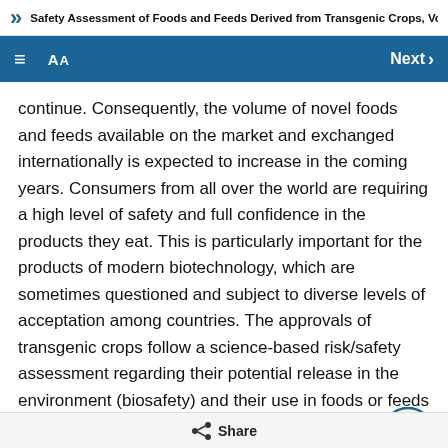Safety Assessment of Foods and Feeds Derived from Transgenic Crops, Volume 3
continue. Consequently, the volume of novel foods and feeds available on the market and exchanged internationally is expected to increase in the coming years. Consumers from all over the world are requiring a high level of safety and full confidence in the products they eat. This is particularly important for the products of modern biotechnology, which are sometimes questioned and subject to diverse levels of acceptation among countries. The approvals of transgenic crops follow a science-based risk/safety assessment regarding their potential release in the environment (biosafety) and their use in foods or feeds (novel food and feed safety). The OECD has undertaken activities related to environmental safety
Share